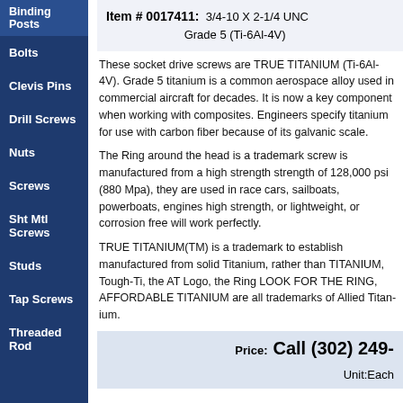Binding Posts
Bolts
Clevis Pins
Drill Screws
Nuts
Screws
Sht Mtl Screws
Studs
Tap Screws
Threaded Rod
Item # 0017411: 3/4-10 X 2-1/4 UNC Grade 5 (Ti-6Al-4V)
These socket drive screws are TRUE TITANIUM (Ti-6Al-4V). Grade 5 titanium is a common aerospace alloy used in commercial aircraft for decades. It is now a key component when working with composites. Engineers specify titanium for use with carbon fiber because of its galvanic scale.
The Ring around the head is a trademark screw is manufactured from a high strength strength of 128,000 psi (880 Mpa), they are used in race cars, sailboats, powerboats, engines high strength, or lightweight, or corrosion resistant will work perfectly.
TRUE TITANIUM(TM) is a trademark to establish manufactured from solid Titanium, rather than TITANIUM, Tough-Ti, the AT Logo, the Ring LOOK FOR THE RING, AFFORDABLE TITANIUM are all trademarks of Allied Titanium.
Price: Call (302) 249-
Unit: Each